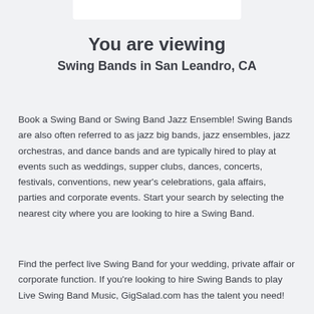You are viewing
Swing Bands in San Leandro, CA
Book a Swing Band or Swing Band Jazz Ensemble! Swing Bands are also often referred to as jazz big bands, jazz ensembles, jazz orchestras, and dance bands and are typically hired to play at events such as weddings, supper clubs, dances, concerts, festivals, conventions, new year's celebrations, gala affairs, parties and corporate events. Start your search by selecting the nearest city where you are looking to hire a Swing Band.
Find the perfect live Swing Band for your wedding, private affair or corporate function. If you're looking to hire Swing Bands to play Live Swing Band Music, GigSalad.com has the talent you need!